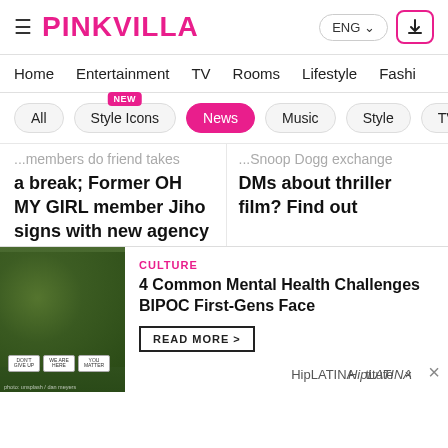PINKVILLA
ENG | Download
Home | Entertainment | TV | Rooms | Lifestyle | Fashi
All | Style Icons (NEW) | News | Music | Style | TV Se
...members do friend takes a break; Former OH MY GIRL member Jiho signs with new agency
...Snoop Dogg exchange DMs about thriller film? Find out
[Figure (screenshot): Two side-by-side article thumbnail images on left, one on right with HALLYU TALK badge]
[Figure (photo): Ad banner: outdoor photo with protest signs reading DON'T GIVE UP, WE ARE HERE, YOU MATTER]
CULTURE
4 Common Mental Health Challenges BIPOC First-Gens Face
READ MORE >
HipLATINA
THRO...